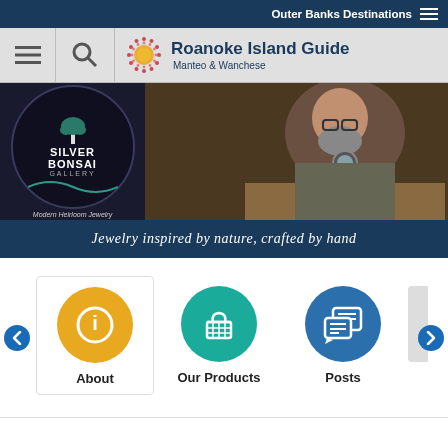Outer Banks Destinations
Roanoke Island Guide
Manteo & Wanchese
[Figure (photo): Silver Bonsai Gallery ad with jeweler crafting jewelry by hand. Logo shows 'Silver Bonsai Gallery - Modern Heirloom Jewelry'. Tagline: Jewelry inspired by nature, crafted by hand.]
[Figure (infographic): Navigation category icons: About (yellow circle with info icon), Our Products (teal circle with basket icon), Posts (blue circle with chat/document icon), and a partially visible fourth icon. Left and right arrow navigation buttons.]